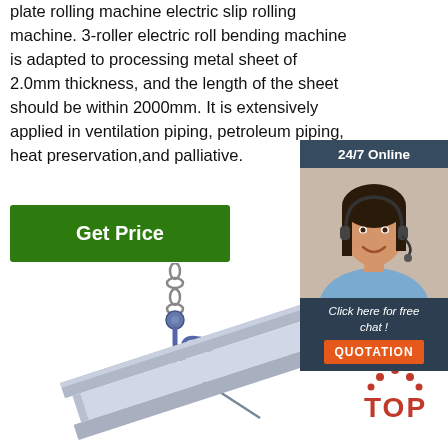plate rolling machine electric slip rolling machine. 3-roller electric roll bending machine is adapted to processing metal sheet of 2.0mm thickness, and the length of the sheet should be within 2000mm. It is extensively applied in ventilation piping, petroleum piping, heat preservation,and palliative.
[Figure (other): Get Price green button]
[Figure (infographic): 24/7 Online chat widget in dark background with woman wearing headset. Includes 'Click here for free chat!' text and orange QUOTATION button.]
[Figure (photo): Photo of a steel I-beam being lifted by a crane hook and cable]
[Figure (other): TOP navigation button with red dots and red bold text]